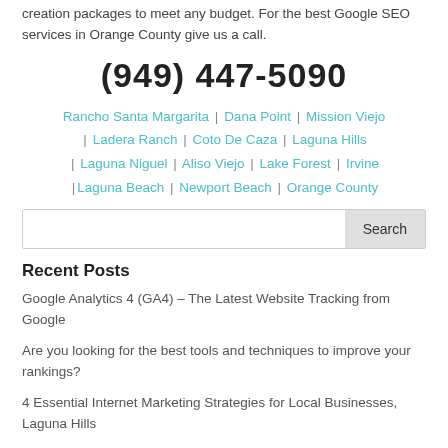creation packages to meet any budget. For the best Google SEO services in Orange County give us a call.
(949) 447-5090
Rancho Santa Margarita | Dana Point | Mission Viejo | Ladera Ranch | Coto De Caza | Laguna Hills | Laguna Niguel | Aliso Viejo | Lake Forest | Irvine | Laguna Beach | Newport Beach | Orange County
Search
Recent Posts
Google Analytics 4 (GA4) – The Latest Website Tracking from Google
Are you looking for the best tools and techniques to improve your rankings?
4 Essential Internet Marketing Strategies for Local Businesses, Laguna Hills